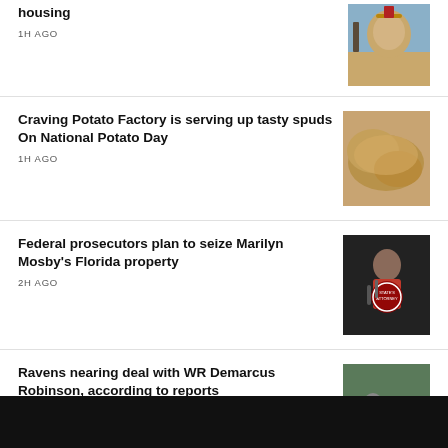housing
1H AGO
[Figure (photo): Building with a dome and flags against a blue sky]
Craving Potato Factory is serving up tasty spuds On National Potato Day
1H AGO
[Figure (photo): Close-up of potatoes]
Federal prosecutors plan to seize Marilyn Mosby's Florida property
2H AGO
[Figure (photo): Woman speaking at microphones with a State's Attorney seal visible]
Ravens nearing deal with WR Demarcus Robinson, according to reports
3H AGO
[Figure (photo): Football players on the field, one in a Raiders uniform]